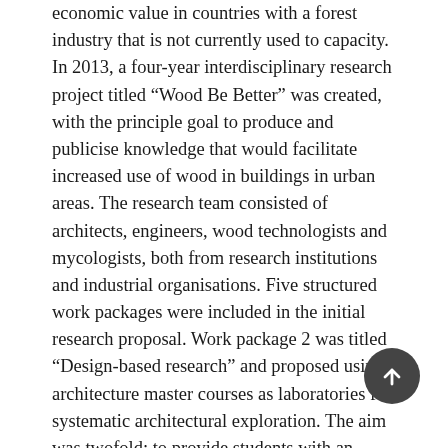economic value in countries with a forest industry that is not currently used to capacity. In 2013, a four-year interdisciplinary research project titled “Wood Be Better” was created, with the principle goal to produce and publicise knowledge that would facilitate increased use of wood in buildings in urban areas. The research team consisted of architects, engineers, wood technologists and mycologists, both from research institutions and industrial organisations. Five structured work packages were included in the initial research proposal. Work package 2 was titled “Design-based research” and proposed using architecture master courses as laboratories for systematic architectural exploration. The aim was twofold: to provide students with an interdisciplinary team of experts from consultancies and producers, as well as teachers and researchers, that could offer the latest information on wood technologies; whilst at the same